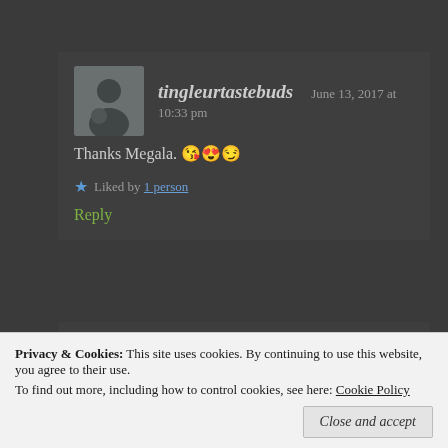tingleurtastebuds   June 13, 2017 at 10:33 pm
Thanks Megala. 😘😍😏
★ Liked by 1 person
Reply
NeerajasCreations   June 13, 2017 at 9:05 pm
Privacy & Cookies: This site uses cookies. By continuing to use this website, you agree to their use.
To find out more, including how to control cookies, see here: Cookie Policy
Close and accept